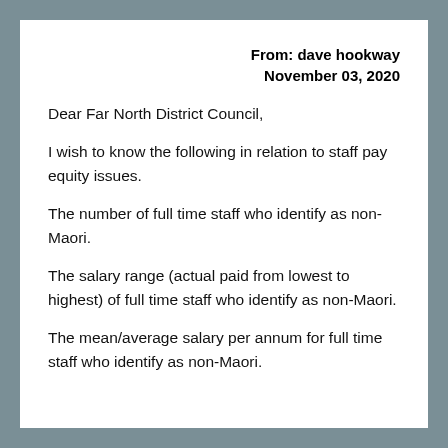From: dave hookway
November 03, 2020
Dear Far North District Council,
I wish to know the following in relation to staff pay equity issues.
The number of full time staff who identify as non-Maori.
The salary range (actual paid from lowest to highest) of full time staff who identify as non-Maori.
The mean/average salary per annum for full time staff who identify as non-Maori.